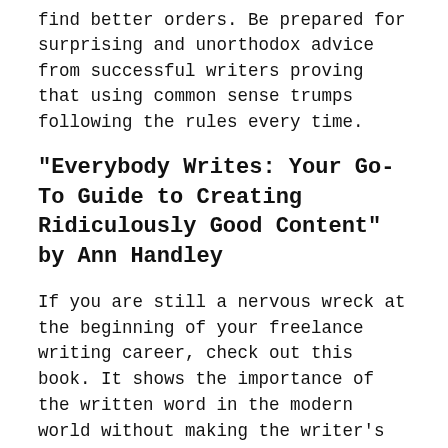find better orders. Be prepared for surprising and unorthodox advice from successful writers proving that using common sense trumps following the rules every time.
"Everybody Writes: Your Go-To Guide to Creating Ridiculously Good Content" by Ann Handley
If you are still a nervous wreck at the beginning of your freelance writing career, check out this book. It shows the importance of the written word in the modern world without making the writer's job seem impossible. On the contrary, the author shows that everyone can tell a story and teaches